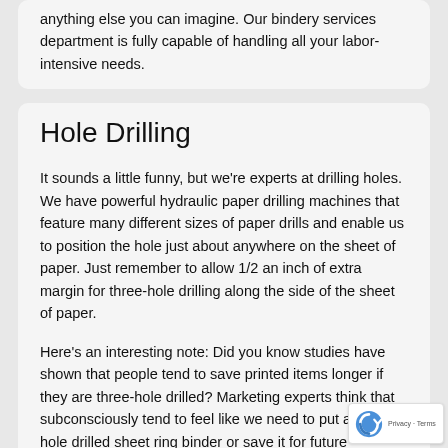anything else you can imagine. Our bindery services department is fully capable of handling all your labor-intensive needs.
Hole Drilling
It sounds a little funny, but we're experts at drilling holes. We have powerful hydraulic paper drilling machines that feature many different sizes of paper drills and enable us to position the hole just about anywhere on the sheet of paper. Just remember to allow 1/2 an inch of extra margin for three-hole drilling along the side of the sheet of paper.
Here's an interesting note: Did you know studies have shown that people tend to save printed items longer if they are three-hole drilled? Marketing experts think that subconsciously tend to feel like we need to put a three-hole drilled sheet ring binder or save it for future reference.